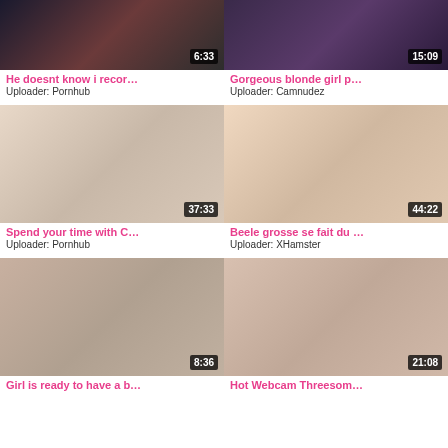[Figure (screenshot): Video thumbnail 1 with duration 6:33]
He doesnt know i recor…
Uploader: Pornhub
[Figure (screenshot): Video thumbnail 2 with duration 15:09]
Gorgeous blonde girl p…
Uploader: Camnudez
[Figure (screenshot): Video thumbnail 3 with duration 37:33]
Spend your time with C…
Uploader: Pornhub
[Figure (screenshot): Video thumbnail 4 with duration 44:22]
Beele grosse se fait du …
Uploader: XHamster
[Figure (screenshot): Video thumbnail 5 with duration 8:36]
Girl is ready to have a b…
[Figure (screenshot): Video thumbnail 6 with duration 21:08]
Hot Webcam Threesom…